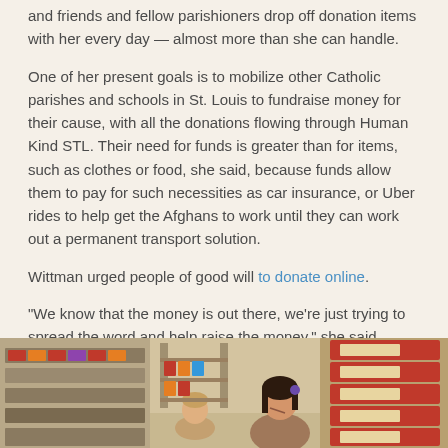and friends and fellow parishioners drop off donation items with her every day — almost more than she can handle.
One of her present goals is to mobilize other Catholic parishes and schools in St. Louis to fundraise money for their cause, with all the donations flowing through Human Kind STL. Their need for funds is greater than for items, such as clothes or food, she said, because funds allow them to pay for such necessities as car insurance, or Uber rides to help get the Afghans to work until they can work out a permanent transport solution.
Wittman urged people of good will to donate online.
"We know that the money is out there, we're just trying to spread the word and help raise the money," she said.
[Figure (photo): A woman with dark hair looking down, surrounded by shelves with boxes and canned goods in what appears to be a donation storage area or food pantry.]